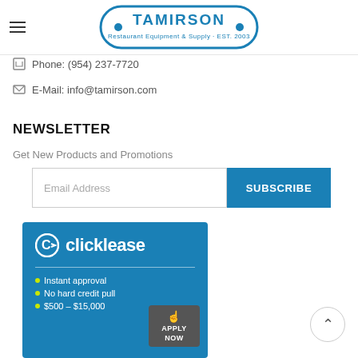TAMIRSON - Restaurant Equipment & Supply · EST. 2003
Phone: (954) 237-7720
E-Mail: info@tamirson.com
NEWSLETTER
Get New Products and Promotions
Email Address  SUBSCRIBE
[Figure (logo): Clicklease advertisement banner with logo, bullet points: Instant approval, No hard credit pull, $500 – $15,000, and an Apply Now button]